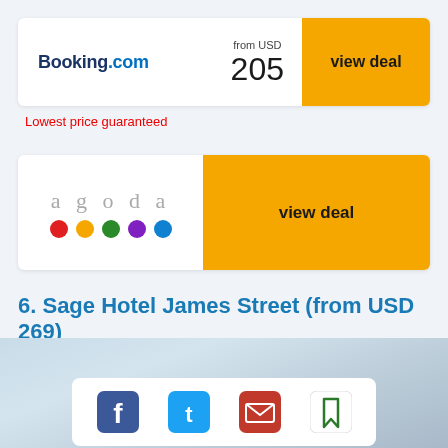[Figure (logo): Booking.com logo with price USD 205 and yellow 'view deal' button]
Lowest price guaranteed
[Figure (logo): Agoda logo with colored dots and yellow 'view deal' button]
6. Sage Hotel James Street (from USD 269)
[Figure (photo): Hotel exterior photo with sky background]
[Figure (infographic): Social sharing bar with Facebook, Twitter, email, and bookmark icons]